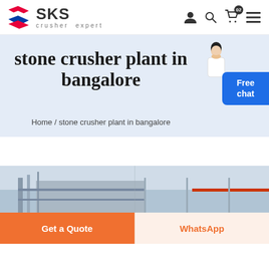[Figure (logo): SKS crusher expert logo with stylized S icon in red and blue]
stone crusher plant in bangalore
Home / stone crusher plant in bangalore
[Figure (photo): Industrial stone crusher plant facility building exterior]
Get a Quote
WhatsApp